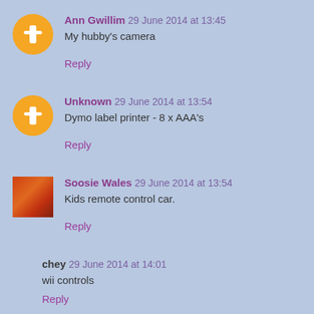Ann Gwillim 29 June 2014 at 13:45
My hubby's camera
Reply
Unknown 29 June 2014 at 13:54
Dymo label printer - 8 x AAA's
Reply
[Figure (photo): Soosie Wales profile photo - red/orange bird image]
Soosie Wales 29 June 2014 at 13:54
Kids remote control car.
Reply
chey 29 June 2014 at 14:01
wii controls
Reply